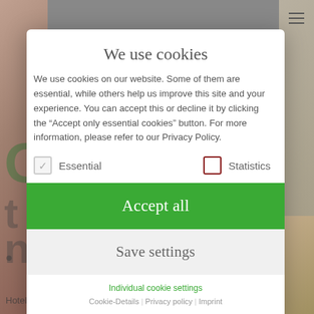[Figure (screenshot): Background webpage with hotel booking site, partially obscured by cookie consent modal. Shows large decorative letters, hamburger menu icon, and footer text 'Hotel booking is a matter of trust. We want'.]
We use cookies
We use cookies on our website. Some of them are essential, while others help us improve this site and your experience. You can accept this or decline it by clicking the “Accept only essential cookies” button. For more information, please refer to our Privacy Policy.
Essential
Statistics
Accept all
Save settings
Individual cookie settings
Cookie-Details | Privacy policy | Imprint